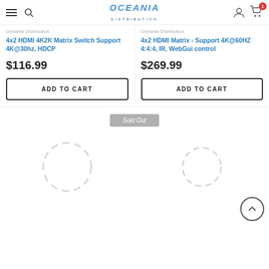Oceania Distribution — navigation header with hamburger menu, search, logo, account, cart (1 item)
Oceania Distribution
4x2 HDMI 4K2K Matrix Switch Support 4K@30hz, HDCP
Oceania Distribution
4x2 HDMI Matrix - Support 4K@60HZ 4:4:4, IR, WebGui control
$116.99
$269.99
ADD TO CART
ADD TO CART
Sold Out
[Figure (other): Loading spinner circle placeholder left]
[Figure (other): Loading spinner circle placeholder right]